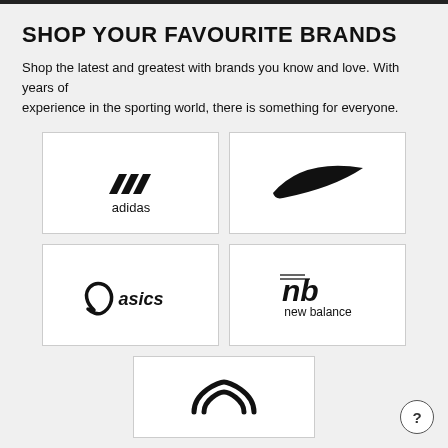SHOP YOUR FAVOURITE BRANDS
Shop the latest and greatest with brands you know and love. With years of experience in the sporting world, there is something for everyone.
[Figure (logo): Adidas logo with three stripes icon and 'adidas' text]
[Figure (logo): Nike swoosh logo]
[Figure (logo): ASICS logo with swoosh and 'asics' text in italic]
[Figure (logo): New Balance logo with NB icon and 'new balance' text]
[Figure (logo): Under Armour logo partially visible at bottom]